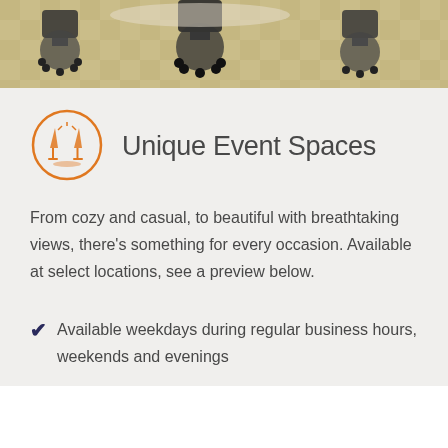[Figure (photo): Photo of office chairs and carpeted floor, viewed from above/behind showing chair backs and casters]
Unique Event Spaces
From cozy and casual, to beautiful with breathtaking views, there's something for every occasion. Available at select locations, see a preview below.
Available weekdays during regular business hours, weekends and evenings